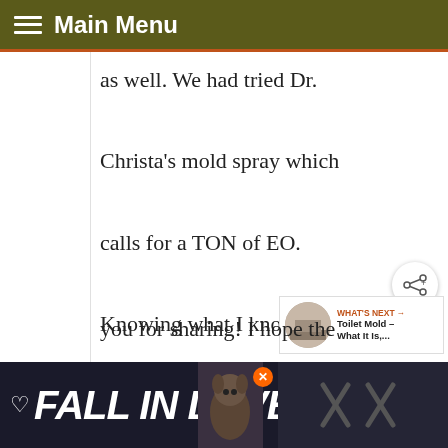Main Menu
as well. We had tried Dr. Christa's mold spray which calls for a TON of EO. Knowing what I know about EO, I cut the amount WAY back and oh my gosh, it gave us a headache still!!! Thank you for sharing! I hope the
[Figure (screenshot): Share button icon (circular white button with share symbol)]
[Figure (screenshot): What's Next widget showing Toilet Mold article thumbnail]
[Figure (screenshot): Advertisement banner at bottom: FALL IN LOVE with dog image]